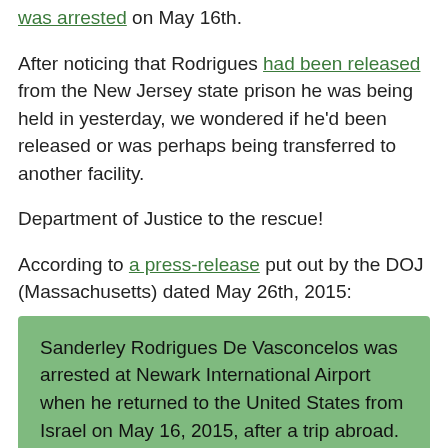was arrested on May 16th.
After noticing that Rodrigues had been released from the New Jersey state prison he was being held in yesterday, we wondered if he'd been released or was perhaps being transferred to another facility.
Department of Justice to the rescue!
According to a press-release put out by the DOJ (Massachusetts) dated May 26th, 2015:
Sanderley Rodrigues De Vasconcelos was arrested at Newark International Airport when he returned to the United States from Israel on May 16, 2015, after a trip abroad.
Following a detention hearing on Thursday, May 21, 2015, in Newark, NJ, Rodrigues was released on conditions, including the surrender of his passport and the passports belonging to his family